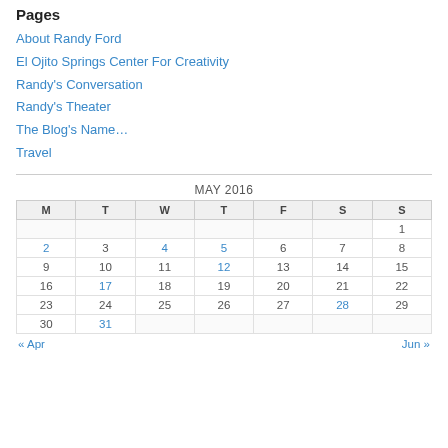Pages
About Randy Ford
El Ojito Springs Center For Creativity
Randy's Conversation
Randy's Theater
The Blog's Name…
Travel
| M | T | W | T | F | S | S |
| --- | --- | --- | --- | --- | --- | --- |
|  |  |  |  |  |  | 1 |
| 2 | 3 | 4 | 5 | 6 | 7 | 8 |
| 9 | 10 | 11 | 12 | 13 | 14 | 15 |
| 16 | 17 | 18 | 19 | 20 | 21 | 22 |
| 23 | 24 | 25 | 26 | 27 | 28 | 29 |
| 30 | 31 |  |  |  |  |  |
« Apr   Jun »